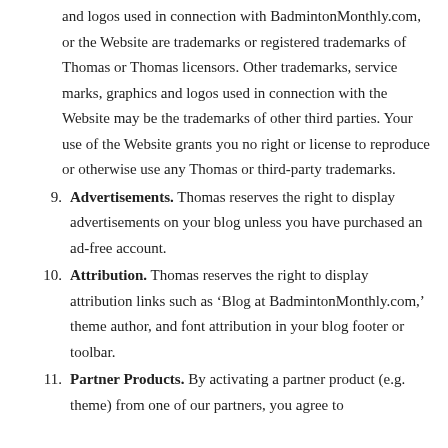and logos used in connection with BadmintonMonthly.com, or the Website are trademarks or registered trademarks of Thomas or Thomas licensors. Other trademarks, service marks, graphics and logos used in connection with the Website may be the trademarks of other third parties. Your use of the Website grants you no right or license to reproduce or otherwise use any Thomas or third-party trademarks.
9. Advertisements. Thomas reserves the right to display advertisements on your blog unless you have purchased an ad-free account.
10. Attribution. Thomas reserves the right to display attribution links such as ‘Blog at BadmintonMonthly.com,’ theme author, and font attribution in your blog footer or toolbar.
11. Partner Products. By activating a partner product (e.g. theme) from one of our partners, you agree to